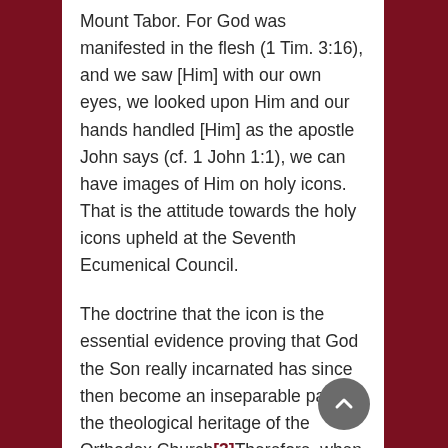Mount Tabor. For God was manifested in the flesh (1 Tim. 3:16), and we saw [Him] with our own eyes, we looked upon Him and our hands handled [Him] as the apostle John says (cf. 1 John 1:1), we can have images of Him on holy icons. That is the attitude towards the holy icons upheld at the Seventh Ecumenical Council.
The doctrine that the icon is the essential evidence proving that God the Son really incarnated has since then become an inseparable part of the theological heritage of the Orthodox Church[3]Therefore, when nowadays we enter an Orthodox church, we perceive the beauty of the Divine world through